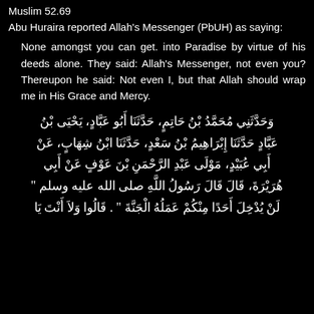Muslim 52.69
Abu Huraira reported Allah's Messenger (PbUH) as saying:
None amongst you can get. into Paradise by virtue of his deeds alone. They said: Allah's Messenger, not even you? Thereupon he said: Not even I, but that Allah should wrap me in His Grace and Mercy.
وَحَدَّثَنِي مُحَمَّدُ بْنُ حَاتِمٍ، حَدَّثَنَا أَبُو عَبَّادٍ، يَحْيَى بْنُ عَبَّادٍ حَدَّثَنَا إِبْرَاهِيمُ بْنُ سَعْدٍ، حَدَّثَنَا ابْنُ شِهَابٍ، عَنْ أَبِي عُبَيْدٍ، مَوْلَى عَبْدِ الرَّحْمَنِ بْنَ عَوْفٍ عَنْ أَبِي هُرَيْرَةَ، قَالَ قَالَ رَسُولُ اللَّهِ صلى الله عليه وسلم " لَنْ يُدْخِلَ أَحَدًا مِنْكُمْ عَمَلُهُ الْجَنَّةَ " . قَالُوا وَلاَ أَنْتَ يَا